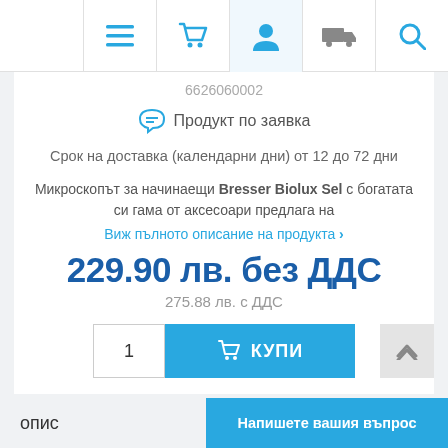[Figure (screenshot): E-commerce product page screenshot showing navigation icons (menu, cart, user, delivery, search), product SKU 6626060002, 'Продукт по заявка' status, delivery time, product description for Bresser Biolux Sel microscope, price 229.90 лв. без ДДС, VAT price 275.88 лв. с ДДС, quantity input and buy button, and a chat button]
6626060002
Продукт по заявка
Срок на доставка (календарни дни) от 12 до 72 дни
Микроскопът за начинаещи Bresser Biolux Sel с богатата си гама от аксесоари предлага на
Виж пълното описание на продукта ›
229.90 лв. без ДДС
275.88 лв. с ДДС
1
КУПИ
опис
Напишете вашия въпрос